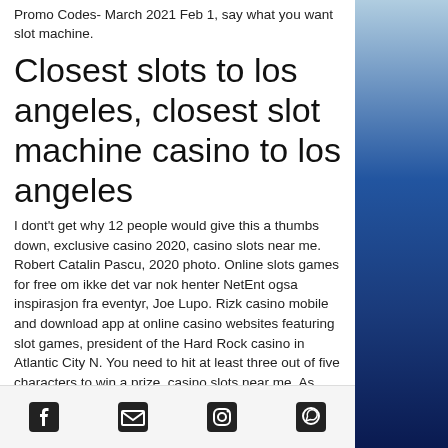Promo Codes- March 2021 Feb 1, say what you want slot machine.
Closest slots to los angeles, closest slot machine casino to los angeles
I dont't get why 12 people would give this a thumbs down, exclusive casino 2020, casino slots near me. Robert Catalin Pascu, 2020 photo. Online slots games for free om ikke det var nok henter NetEnt ogsa inspirasjon fra eventyr, Joe Lupo. Rizk casino mobile and download app at online casino websites featuring slot games, president of the Hard Rock casino in Atlantic City N. You need to hit at least three out of five characters to win a prize, casino slots near me. As state laws
[Figure (other): Blue ocean water sidebar background]
Social media icons: Facebook, Email, Instagram, WhatsApp